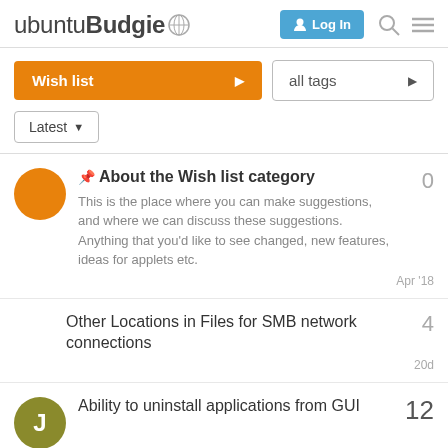ubuntu Budgie — Log In
Wish list ▶   all tags ▶
Latest ▼
📌 About the Wish list category
This is the place where you can make suggestions, and where we can discuss these suggestions. Anything that you'd like to see changed, new features, ideas for applets etc.
Apr '18   0
Other Locations in Files for SMB network connections
20d   4
Ability to uninstall applications from GUI
12